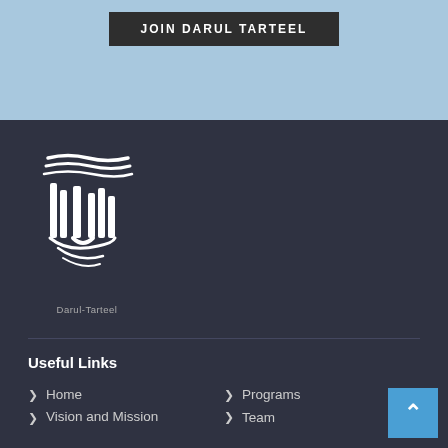JOIN DARUL TARTEEL
[Figure (logo): Darul-Tarteel Arabic calligraphy logo with white stylized Arabic script on dark background, with text 'Darul-Tarteel' below]
Useful Links
Home
Programs
Vision and Mission
Team